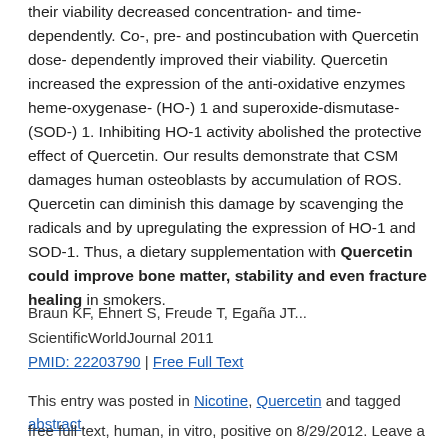their viability decreased concentration- and time-dependently. Co-, pre- and postincubation with Quercetin dose-dependently improved their viability. Quercetin increased the expression of the anti-oxidative enzymes heme-oxygenase-(HO-) 1 and superoxide-dismutase- (SOD-) 1. Inhibiting HO-1 activity abolished the protective effect of Quercetin. Our results demonstrate that CSM damages human osteoblasts by accumulation of ROS. Quercetin can diminish this damage by scavenging the radicals and by upregulating the expression of HO-1 and SOD-1. Thus, a dietary supplementation with Quercetin could improve bone matter, stability and even fracture healing in smokers.
Braun KF, Ehnert S, Freude T, Egaña JT... ScientificWorldJournal 2011 PMID: 22203790 | Free Full Text
This entry was posted in Nicotine, Quercetin and tagged abstract, free full text, human, in vitro, positive on 8/29/2012. Leave a reply